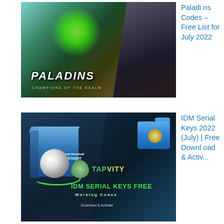[Figure (screenshot): Paladins Champions of the Realm game cover art showing a warrior character with green lightning and the Paladins logo]
Paladins Codes – Free List for July 2022
[Figure (screenshot): IDM (Internet Download Manager) Serial Keys Free Working Codes promotional image with Tapvity branding and Download & Activate text]
IDM Serial Keys 2022 (July) | Free Download & Activ...